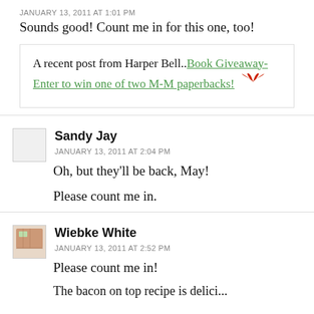JANUARY 13, 2011 AT 1:01 PM
Sounds good! Count me in for this one, too!
A recent post from Harper Bell..Book Giveaway- Enter to win one of two M-M paperbacks!
Sandy Jay
JANUARY 13, 2011 AT 2:04 PM
Oh, but they'll be back, May!
Please count me in.
Wiebke White
JANUARY 13, 2011 AT 2:52 PM
Please count me in!
The bacon on top recipe is delicious...